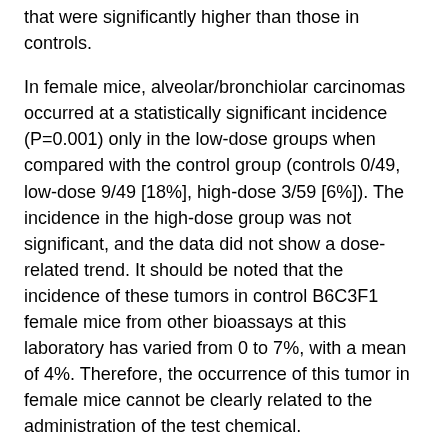that were significantly higher than those in controls.
In female mice, alveolar/bronchiolar carcinomas occurred at a statistically significant incidence (P=0.001) only in the low-dose groups when compared with the control group (controls 0/49, low-dose 9/49 [18%], high-dose 3/59 [6%]). The incidence in the high-dose group was not significant, and the data did not show a dose-related trend. It should be noted that the incidence of these tumors in control B6C3F1 female mice from other bioassays at this laboratory has varied from 0 to 7%, with a mean of 4%. Therefore, the occurrence of this tumor in female mice cannot be clearly related to the administration of the test chemical.
In female B6C3F1 mice there was an increased incidence of alveolar/bronchiolar carcinomas, suggesting a possible carcinogenic effect of 1H-benzotriazole. In Fischer 344 rats there was an increased incidence of brain tumors, suggesting a possible carcinogenic effect. However, there was no convincing